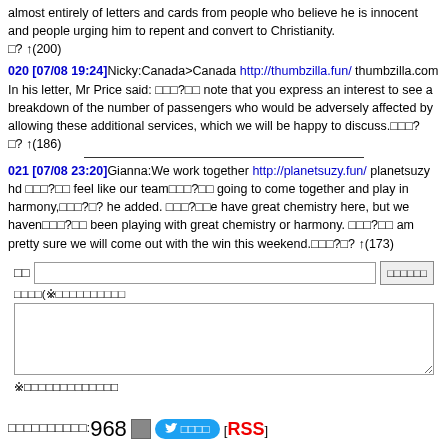almost entirely of letters and cards from people who believe he is innocent and people urging him to repent and convert to Christianity. □? ↑(200)
020 [07/08 19:24] Nicky:Canada>Canada http://thumbzilla.fun/ thumbzilla.com In his letter, Mr Price said: □□□?□□ note that you express an interest to see a breakdown of the number of passengers who would be adversely affected by allowing these additional services, which we will be happy to discuss.□□□?□? ↑(186)
021 [07/08 23:20] Gianna:We work together http://planetsuzy.fun/ planetsuzy hd □□□?□□ feel like our team□□□?□□ going to come together and play in harmony,□□□?□? he added. □□□?□□e have great chemistry here, but we haven□□□?□□ been playing with great chemistry or harmony. □□□?□□ am pretty sure we will come out with the win this weekend.□□□?□? ↑(173)
□□ [input field] □□□□□□□
□□□□(※□□□□□□□□□□□
※□□□□□□□□□□□□□
□□□□□□□□□□:968 [icon] ツイート [RSS]